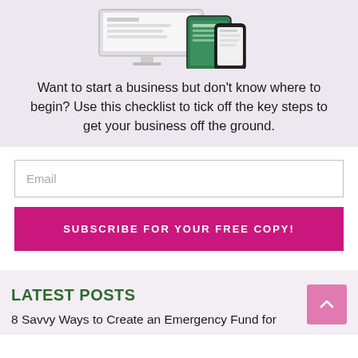[Figure (illustration): Device mockup showing a desktop monitor and mobile phone displaying a business checklist interface, on a light lavender/purple background]
Want to start a business but don't know where to begin? Use this checklist to tick off the key steps to get your business off the ground.
Email
SUBSCRIBE FOR YOUR FREE COPY!
LATEST POSTS
8 Savvy Ways to Create an Emergency Fund for